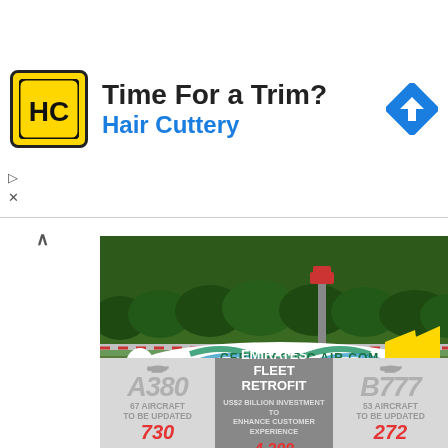[Figure (illustration): Hair Cuttery advertisement banner with HC logo, 'Time For a Trim?' headline, 'Hair Cuttery' subtext in blue, and Google Maps navigation icon]
[Figure (photo): Cebu Pacific Air aircraft (yellow and white livery) taxiing on runway, with green trees in background. Photo credit: Steven Howard, TravelNewsAsia.com, ASIATravelTips.com]
Cebu Pacific to Increase Flights Between Mactan and Seoul, South Korea
[Figure (infographic): Emirates Fleet Retrofit infographic showing A380 (67 aircraft to be updated) and B777 (53 aircraft to be updated) with US$2 billion investment to enhance customer experience. Bottom numbers: 720, 4,200, 272, 3,360]